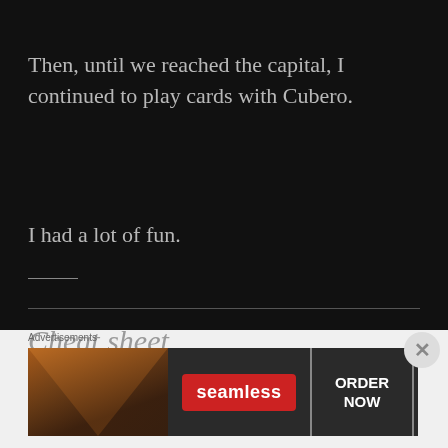Then, until we reached the capital, I continued to play cards with Cubero.
I had a lot of fun.
Cheat sheet
[Figure (other): Advertisement banner: Seamless food delivery ad with pizza image, Seamless logo, and ORDER NOW button]
Advertisements